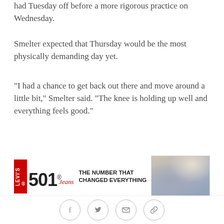had Tuesday off before a more rigorous practice on Wednesday.
Smelter expected that Thursday would be the most physically demanding day yet.
"I had a chance to get back out there and move around a little bit," Smelter said. "The knee is holding up well and everything feels good."
[Figure (other): Levi's 501 advertisement banner: red Levi's logo box, '501' text, tagline 'THE NUMBER THAT CHANGED EVERYTHING', and image of jeans]
Fellow wideout Torrey Smith is among those who have been impressed with what they've seen from Smelter in the limited sample size.
"He's doing well," Smith said. "He's moving well,
Social share icons: Facebook, Twitter, Email, Link